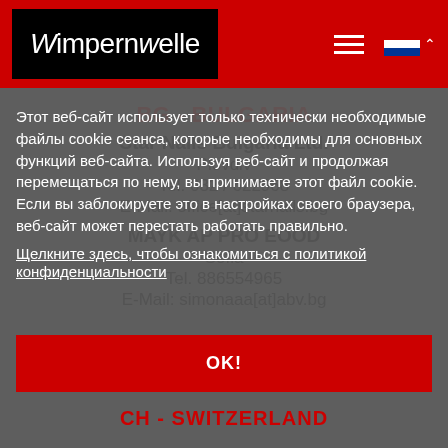[Figure (logo): Wimpernwelle logo in white text on black background within red header bar]
BG - BULGARIA
Star Nails Bulgaria Ltd.
Plovdiv
Tel. 032 / 622968
E-Mail: office[at]starnails.bg
MAYK AP PRO EOOD
Sofia
Tel. 886554965
E-Mail: simonaaa[at]abv.bg
Этот веб-сайт использует только технически необходимые файлы cookie сеанса, которые необходимы для основных функций веб-сайта. Используя веб-сайт и продолжая перемещаться по нему, вы принимаете этот файл cookie. Если вы заблокируете это в настройках своего браузера, веб-сайт может перестать работать правильно.
Щелкните здесь, чтобы ознакомиться с политикой конфиденциальности
OK!
CH - SWITZERLAND
DORI Inter AG